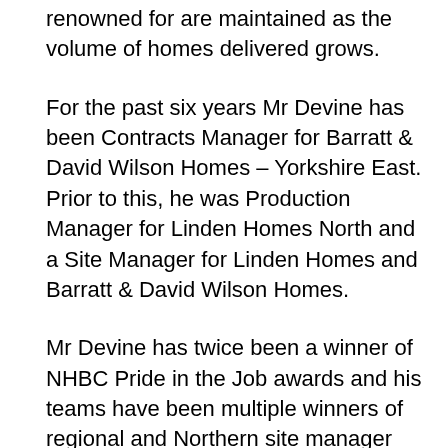renowned for are maintained as the volume of homes delivered grows.
For the past six years Mr Devine has been Contracts Manager for Barratt & David Wilson Homes – Yorkshire East. Prior to this, he was Production Manager for Linden Homes North and a Site Manager for Linden Homes and Barratt & David Wilson Homes.
Mr Devine has twice been a winner of NHBC Pride in the Job awards and his teams have been multiple winners of regional and Northern site manager prizes.
Richard Beal, Chief Executive of the East Yorkshire-based housebuilder, said: "We're delighted to appoint Andy to this key role. He has an excellent track record of leading construction teams and delivering major developments while maintaining a strong focus on build